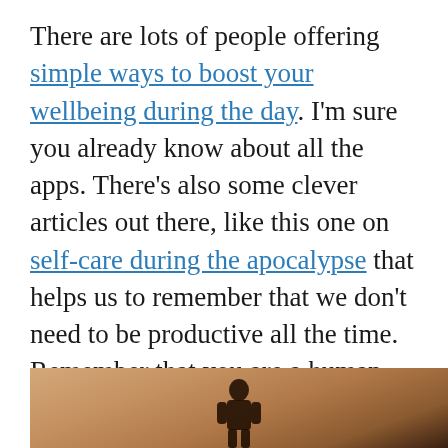There are lots of people offering simple ways to boost your wellbeing during the day. I'm sure you already know about all the apps. There's also some clever articles out there, like this one on self-care during the apocalypse that helps us to remember that we don't need to be productive all the time. Remember that you are a human BE-ing not a human DO-ing. Slow down and take care of you.
[Figure (photo): Partial photo showing a warm sunset/sunrise gradient background (orange to brown tones) with what appears to be a silhouetted figure at the bottom center of the image.]